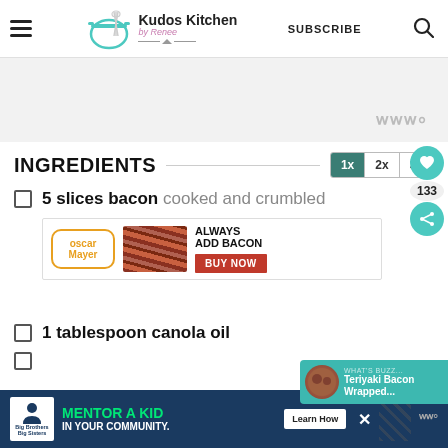Kudos Kitchen by Renee — SUBSCRIBE
INGREDIENTS
5 slices bacon cooked and crumbled
[Figure (other): Oscar Mayer bacon advertisement with Oscar Mayer logo, bacon product image, ALWAYS ADD BACON headline and BUY NOW button]
1 tablespoon canola oil
[Figure (other): Big Brothers Big Sisters advertisement: MENTOR A KID IN YOUR COMMUNITY with Learn How button]
[Figure (other): Teriyaki Bacon Wrapped... related content popup]